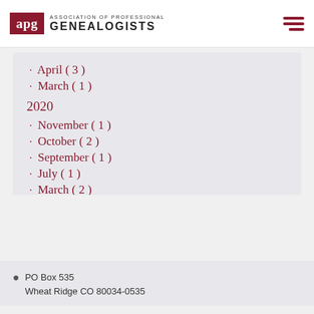apg Association of Professional Genealogists
· April ( 3 )
· March ( 1 )
2020
· November ( 1 )
· October ( 2 )
· September ( 1 )
· July ( 1 )
· March ( 2 )
· February ( 1 )
PO Box 535 Wheat Ridge CO 80034-0535